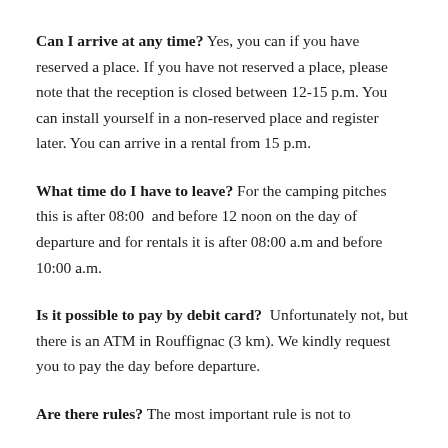Can I arrive at any time? Yes, you can if you have reserved a place. If you have not reserved a place, please note that the reception is closed between 12-15 p.m. You can install yourself in a non-reserved place and register later. You can arrive in a rental from 15 p.m.
What time do I have to leave? For the camping pitches this is after 08:00 and before 12 noon on the day of departure and for rentals it is after 08:00 a.m and before 10:00 a.m.
Is it possible to pay by debit card? Unfortunately not, but there is an ATM in Rouffignac (3 km). We kindly request you to pay the day before departure.
Are there rules? The most important rule is not to